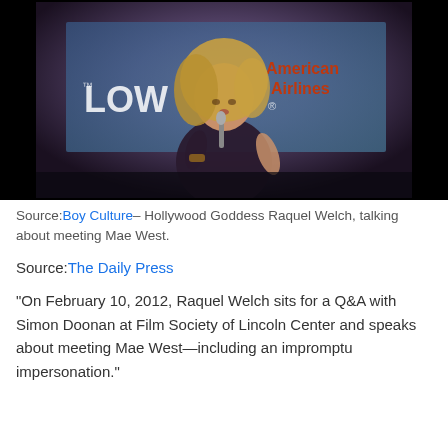[Figure (photo): Raquel Welch holding a microphone on stage, wearing a dark wrap dress with long sleeves, blonde hair, speaking in front of a blue projection screen showing partial text including 'LOW' and 'American Airlines'. Black borders on left and right sides of photo.]
Source: Boy Culture – Hollywood Goddess Raquel Welch, talking about meeting Mae West.
Source: The Daily Press
“On February 10, 2012, Raquel Welch sits for a Q&A with Simon Doonan at Film Society of Lincoln Center and speaks about meeting Mae West—including an impromptu impersonation.”